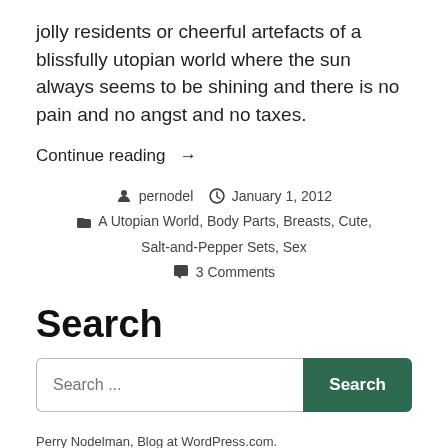jolly residents or cheerful artefacts of a blissfully utopian world where the sun always seems to be shining and there is no pain and no angst and no taxes.
Continue reading →
👤 pernodel 🕐 January 1, 2012
🗂 A Utopian World, Body Parts, Breasts, Cute, Salt-and-Pepper Sets, Sex
💬 3 Comments
Search
Search ...
Perry Nodelman, Blog at WordPress.com.